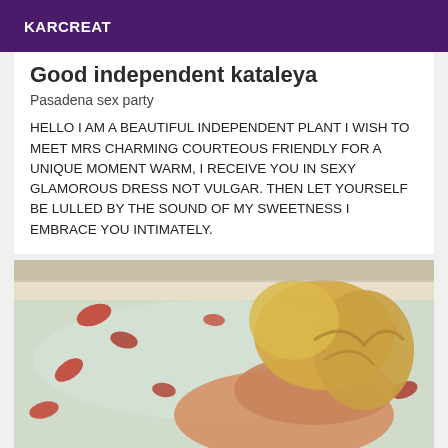KARCREAT
Good independent kataleya
Pasadena sex party
HELLO I AM A BEAUTIFUL INDEPENDENT PLANT I WISH TO MEET MRS CHARMING COURTEOUS FRIENDLY FOR A UNIQUE MOMENT WARM, I RECEIVE YOU IN SEXY GLAMOROUS DRESS NOT VULGAR. THEN LET YOURSELF BE LULLED BY THE SOUND OF MY SWEETNESS I EMBRACE YOU INTIMATELY.
[Figure (photo): Person with blonde hair in a bathtub filled with water and red rose petals, viewed from behind/above.]